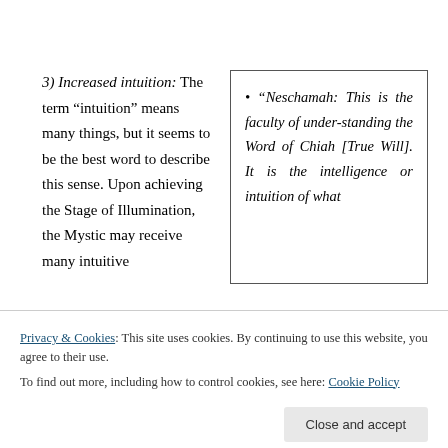3) Increased intuition: The term “intuition” means many things, but it seems to be the best word to describe this sense. Upon achieving the Stage of Illumination, the Mystic may receive many intuitive
• “Neschamah: This is the faculty of under-standing the Word of Chiah [True Will]. It is the intelligence or intuition of what
Privacy & Cookies: This site uses cookies. By continuing to use this website, you agree to their use. To find out more, including how to control cookies, see here: Cookie Policy
“conscience” that Freud
Towards Truth,